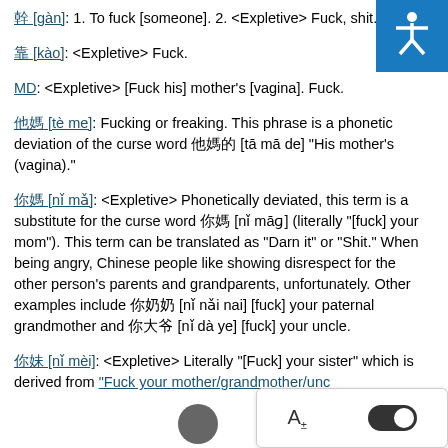幹 [gàn]: 1. To fuck [someone]. 2. <Expletive> Fuck, shit.
靠 [kào]: <Expletive> Fuck.
MD: <Expletive> [Fuck his] mother's [vagina]. Fuck.
他媽 [tè me]: Fucking or freaking. This phrase is a phonetic deviation of the curse word 他媽的 [tā mā de] "His mother's (vagina)."
你媽 [nǐ mǎ]: <Expletive> Phonetically deviated, this term is a substitute for the curse word 你媽 [nǐ māɡ] (literally "[fuck] your mom"). This term can be translated as "Darn it" or "Shit." When being angry, Chinese people like showing disrespect for the other person's parents and grandparents, unfortunately. Other examples include 你奶奶 [nǐ nǎi nai] [fuck] your paternal grandmother and 你大爷 [nǐ dà ye] [fuck] your uncle.
你妹 [nǐ mèi]: <Expletive> Literally "[Fuck] your sister" which is derived from "Fuck your mother/grandmother/unc...